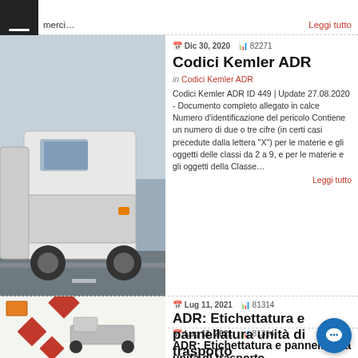merci…
Leggi tutto
[Figure (photo): White truck/tanker on highway, labelled 'kemler']
Dic 30, 2020   82271
Codici Kemler ADR
in Codici Kemler ADR
Codici Kemler ADR ID 449 | Update 27.08.2020 - Documento completo allegato in calce Numero d'identificazione del pericolo Contiene un numero di due o tre cifre (in certi casi precedute dalla lettera "X") per le materie e gli oggetti delle classi da 2 a 9, e per le materie e gli oggetti della Classe…
Leggi tutto
[Figure (illustration): Hazmat diamond warning placards with orange panel and red diamonds, with a tanker truck]
Lug 11, 2021   81314
ADR: Etichettatura e pannellatura unità di trasporto
in Documenti Riservati Trasporto ADR
ADR: etichettatura e pannellatura